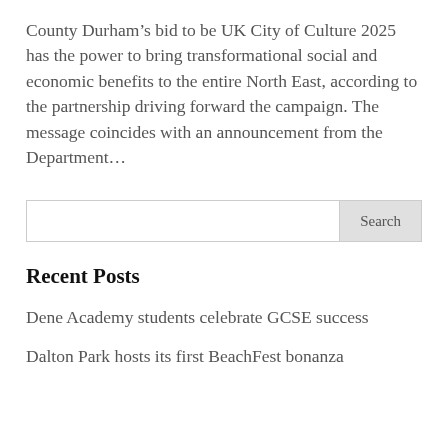County Durham's bid to be UK City of Culture 2025 has the power to bring transformational social and economic benefits to the entire North East, according to the partnership driving forward the campaign. The message coincides with an announcement from the Department...
Search
Recent Posts
Dene Academy students celebrate GCSE success
Dalton Park hosts its first BeachFest bonanza